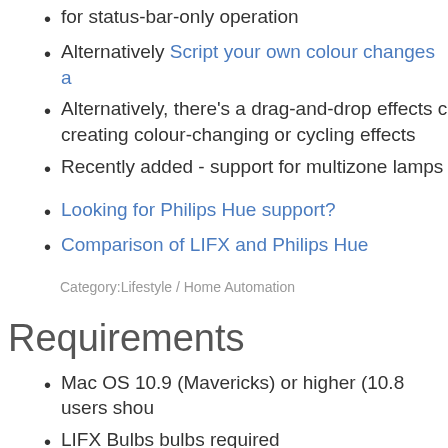for status-bar-only operation
Alternatively Script your own colour changes a
Alternatively, there's a drag-and-drop effects creating colour-changing or cycling effects
Recently added - support for multizone lamps
Looking for Philips Hue support?
Comparison of LIFX and Philips Hue
Category:Lifestyle / Home Automation
Requirements
Mac OS 10.9 (Mavericks) or higher (10.8 users shou
LIFX Bulbs bulbs required
You will need to connect your bulbs to your home n LIFX mobile apps first